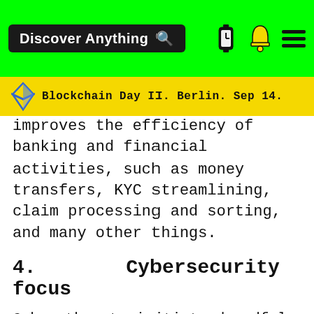Discover Anything
Blockchain Day II. Berlin. Sep 14.
improves the efficiency of banking and financial activities, such as money transfers, KYC streamlining, claim processing and sorting, and many other things.
4.    Cybersecurity focus
Cyber threats initiate dreadful financial upshots and jeopardize the future business prospects and reputation of the BFSI institutions. Hacker attacks have become more vulnerable as a result of the rising usage of online data transactions and mobile technology. The